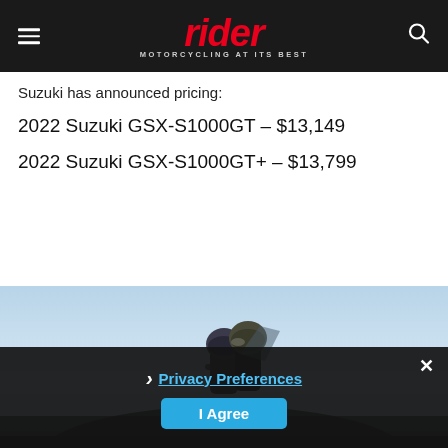rider MOTORCYCLING AT ITS BEST
Suzuki has announced pricing:
2022 Suzuki GSX-S1000GT – $13,149
2022 Suzuki GSX-S1000GT+ – $13,799
[Figure (photo): Two motorcycle riders wearing helmets on a Suzuki GSX-S1000GT, photographed against a light blue sky, with the motorcycle partially visible in dark silhouette in the lower foreground. A dark cookie consent overlay covers the bottom portion.]
Privacy Preferences
I Agree